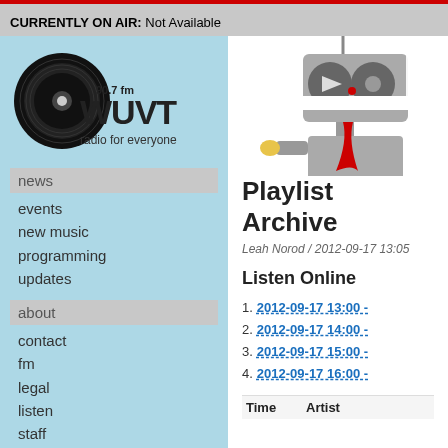CURRENTLY ON AIR: Not Available
[Figure (logo): WUVT 90.7 FM radio for everyone logo with vinyl record graphic]
news
events
new music
programming
updates
about
contact
fm
legal
listen
staff
station
wishlist
wuvt needs boards
[Figure (illustration): Robot illustration holding a phone with play/volume buttons as eyes]
Playlist Archive
Leah Norod / 2012-09-17 13:05
Listen Online
2012-09-17 13:00 -
2012-09-17 14:00 -
2012-09-17 15:00 -
2012-09-17 16:00 -
| Time | Artist |
| --- | --- |